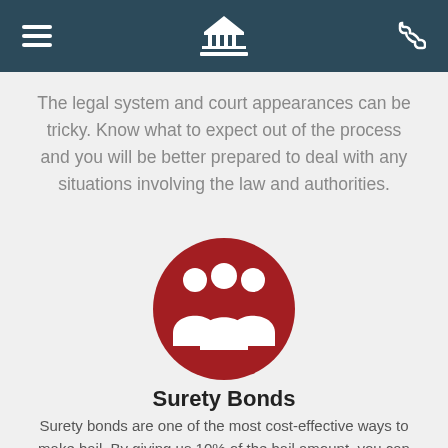[Figure (other): Dark teal navigation header bar with hamburger menu icon on left, courthouse/pillars icon in center, phone icon on right]
The legal system and court appearances can be tricky. Know what to expect out of the process and you will be better prepared to deal with any situations involving the law and authorities.
[Figure (illustration): Red circle icon with three white human silhouette figures representing a group/surety bond concept]
Surety Bonds
Surety bonds are one of the most cost-effective ways to make bail. By giving us 10% of the bail amount, you can then rely on us to pick up the rest in order to ensure your freedom from jail.
[Figure (illustration): Partially visible red circle icon at bottom of page, appears to contain a document/pen signing icon]